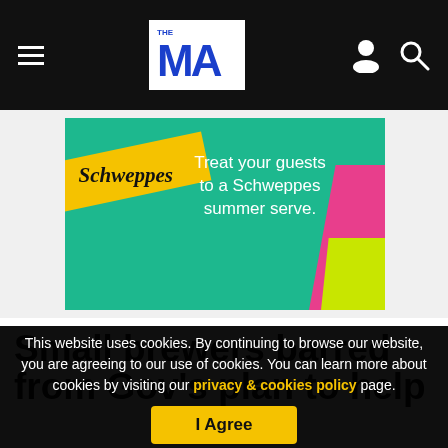THE MA (logo) — navigation header with hamburger menu, logo, user icon, search icon
[Figure (illustration): Schweppes advertisement banner: teal/green background, yellow diagonal ribbon with 'Schweppes' script text, white text reading 'Treat your guests to a Schweppes summer serve.', pink and lime geometric corner shapes]
Small brewers barred from Gov's plan to help
This website uses cookies. By continuing to browse our website, you are agreeing to our use of cookies. You can learn more about cookies by visiting our privacy & cookies policy page.
I Agree